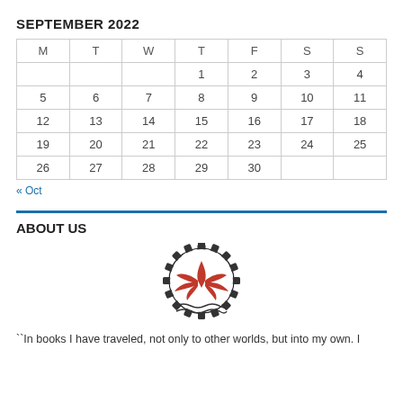SEPTEMBER 2022
| M | T | W | T | F | S | S |
| --- | --- | --- | --- | --- | --- | --- |
|  |  |  | 1 | 2 | 3 | 4 |
| 5 | 6 | 7 | 8 | 9 | 10 | 11 |
| 12 | 13 | 14 | 15 | 16 | 17 | 18 |
| 19 | 20 | 21 | 22 | 23 | 24 | 25 |
| 26 | 27 | 28 | 29 | 30 |  |  |
« Oct
ABOUT US
[Figure (logo): Red phoenix/bird logo with gear-like border and wavy lines below]
``In books I have traveled, not only to other worlds, but into my own. I